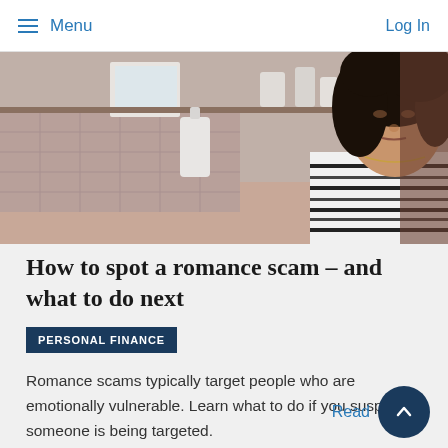Menu  Log In
[Figure (photo): A young woman with curly hair wearing a striped shirt, looking down, in a kitchen setting]
How to spot a romance scam – and what to do next
PERSONAL FINANCE
Romance scams typically target people who are emotionally vulnerable. Learn what to do if you suspect someone is being targeted.
Read